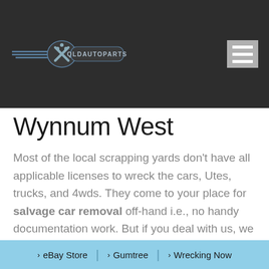QLDAUTOPARTS
Wynnum West
Most of the local scrapping yards don't have all applicable licenses to wreck the cars, Utes, trucks, and 4wds. They come to your place for salvage car removal off-hand i.e., no handy documentation work. But if you deal with us, we visit your location anywhere in Wynnum West and offer free paperwork along with free car
> eBay Store | > Gumtree | > Wrecking Now